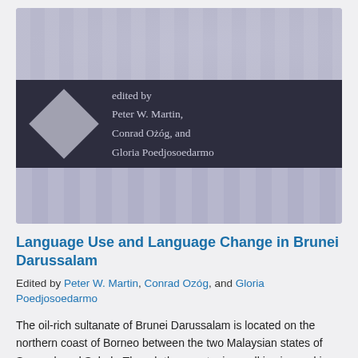[Figure (illustration): Book cover image for 'Language Use and Language Change in Brunei Darussalam'. The cover has a lavender/purple textured background with vertical stripe patterns at the top and bottom. In the middle is a dark navy band containing a diamond/rhombus shape on the left and editorial credits on the right reading: 'edited by Peter W. Martin, Conrad Ożóg, and Gloria Poedjosoedarmo'.]
Language Use and Language Change in Brunei Darussalam
Edited by Peter W. Martin, Conrad Ozóg, and Gloria Poedjosoedarmo
The oil-rich sultanate of Brunei Darussalam is located on the northern coast of Borneo between the two Malaysian states of Sarawak and Sabah. Though the country is small in size and in population, the variety of language use there provides a veritable laboratory for linguists in the fields of